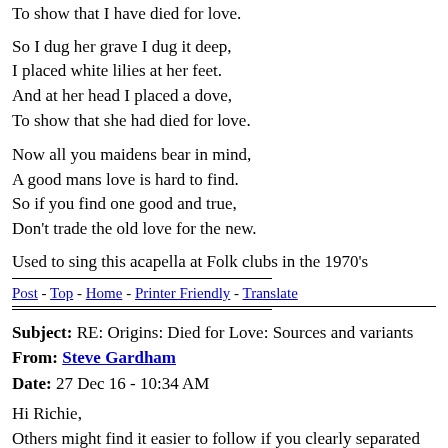To show that I have died for love.
So I dug her grave I dug it deep,
I placed white lilies at her feet.
And at her head I placed a dove,
To show that she had died for love.
Now all you maidens bear in mind,
A good mans love is hard to find.
So if you find one good and true,
Don't trade the old love for the new.
Used to sing this acapella at Folk clubs in the 1970's
Post - Top - Home - Printer Friendly - Translate
Subject: RE: Origins: Died for Love: Sources and variants
From: Steve Gardham
Date: 27 Dec 16 - 10:34 AM
Hi Richie,
Others might find it easier to follow if you clearly separated the different autonomous laments that now have separate Roud numbers. Most scholars now use Roud numbers for clarity. Or